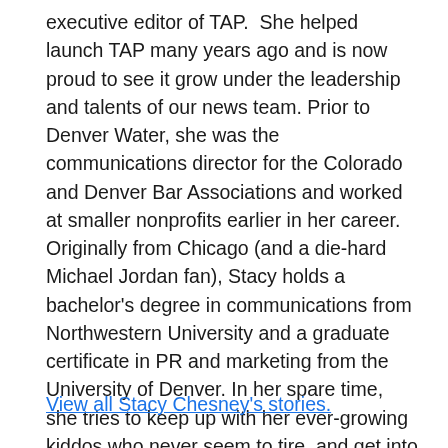executive editor of TAP.  She helped launch TAP many years ago and is now proud to see it grow under the leadership and talents of our news team. Prior to Denver Water, she was the communications director for the Colorado and Denver Bar Associations and worked at smaller nonprofits earlier in her career. Originally from Chicago (and a die-hard Michael Jordan fan), Stacy holds a bachelor's degree in communications from Northwestern University and a graduate certificate in PR and marketing from the University of Denver. In her spare time, she tries to keep up with her ever-growing kiddos who never seem to tire, and get into the great outdoors or see live music whenever possible.
View all Stacy Chesney's stories.